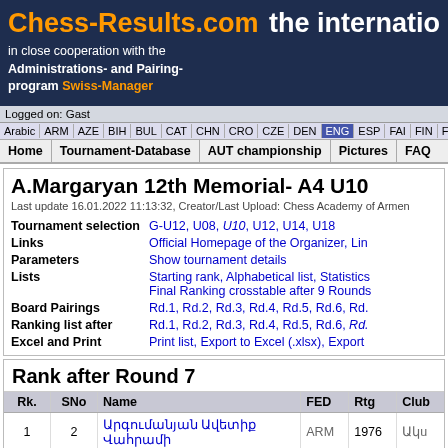Chess-Results.com the internatio
in close cooperation with the Administrations- and Pairing-program Swiss-Manager
Logged on: Gast
Arabic | ARM | AZE | BIH | BUL | CAT | CHN | CRO | CZE | DEN | ENG | ESP | FAI | FIN | FRA | GER | GRE | INA
Home | Tournament-Database | AUT championship | Pictures | FAQ
A.Margaryan 12th Memorial- A4 U10
Last update 16.01.2022 11:13:32, Creator/Last Upload: Chess Academy of Armen
|  |  |
| --- | --- |
| Tournament selection | G-U12, U08, U10, U12, U14, U18 |
| Links | Official Homepage of the Organizer, Lin |
| Parameters | Show tournament details |
| Lists | Starting rank, Alphabetical list, Statistics
Final Ranking crosstable after 9 Rounds |
| Board Pairings | Rd.1, Rd.2, Rd.3, Rd.4, Rd.5, Rd.6, Rd. |
| Ranking list after | Rd.1, Rd.2, Rd.3, Rd.4, Rd.5, Rd.6, Rd. |
| Excel and Print | Print list, Export to Excel (.xlsx), Export |
Rank after Round 7
| Rk. | SNo | Name | FED | Rtg | Club |
| --- | --- | --- | --- | --- | --- |
| 1 | 2 | Արգումանյան Ավետիք Վահրամի | ARM | 1976 | Ակu |